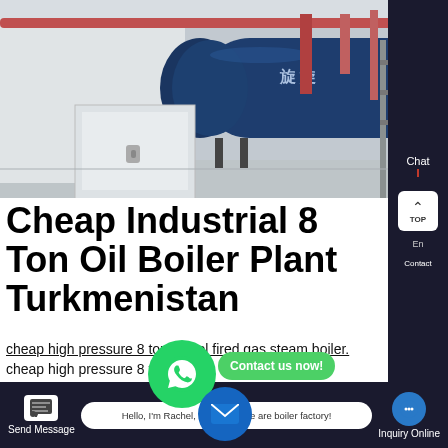[Figure (photo): Industrial boiler plant interior showing a large blue cylindrical boiler, a white electrical cabinet, and overhead piping in a factory setting.]
Cheap Industrial 8 Ton Oil Boiler Plant Turkmenistan
cheap high pressure 8 ton diesel fired gas steam boiler.
cheap high pressure 8 ton dies d c
Zozen Boiler main products include gas&oil boiler coal fired boiler biomass boiler thermal fluid heater and other
Hello, I'm Rachel, Welcome! we are boiler factory!
Send Message
Inquiry Online